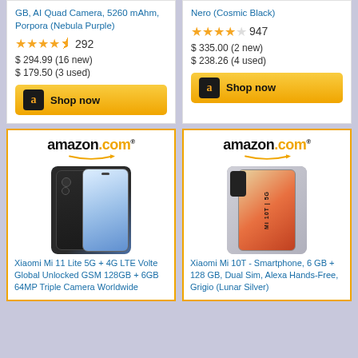GB, AI Quad Camera, 5260 mAhm, Porpora (Nebula Purple)
★★★★½ 292
$ 294.99 (16 new)
$ 179.50 (3 used)
[Figure (screenshot): Amazon Shop now button for left product]
Nero (Cosmic Black)
★★★★☆ 947
$ 335.00 (2 new)
$ 238.26 (4 used)
[Figure (screenshot): Amazon Shop now button for right product]
[Figure (screenshot): Amazon.com logo with arrow, Xiaomi Mi 11 Lite 5G phone image]
Xiaomi Mi 11 Lite 5G + 4G LTE Volte Global Unlocked GSM 128GB + 6GB 64MP Triple Camera Worldwide
[Figure (screenshot): Amazon.com logo with arrow, Xiaomi Mi 10T phone image]
Xiaomi Mi 10T - Smartphone, 6 GB + 128 GB, Dual Sim, Alexa Hands-Free, Grigio (Lunar Silver)